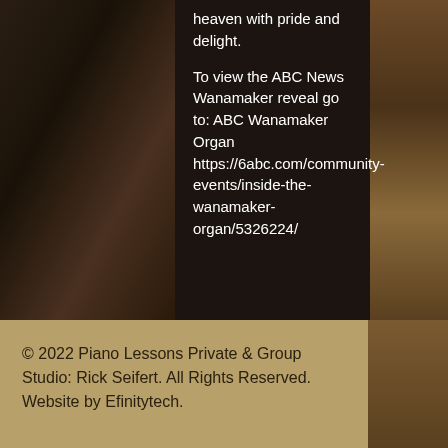heaven with pride and delight.
To view the ABC News Wanamaker reveal go to: ABC Wanamaker Organ https://6abc.com/community-events/inside-the-wanamaker-organ/5326224/
© 2022 Piano Lessons Private & Group Studio: Rick Seifert. All Rights Reserved. Website by Efinitytech.